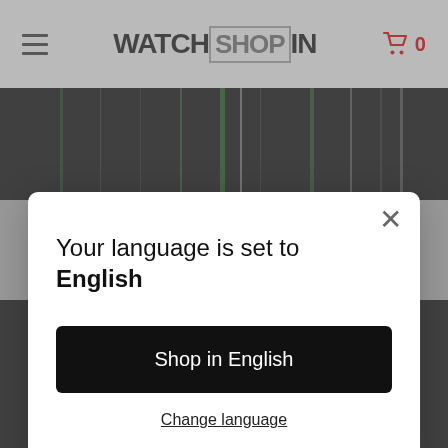WATCHSHOPIN  0
[Figure (screenshot): Dark abstract vertical streaks background image, black with green and white highlights, shown behind the modal dialog]
Your language is set to English
Shop in English
Change language